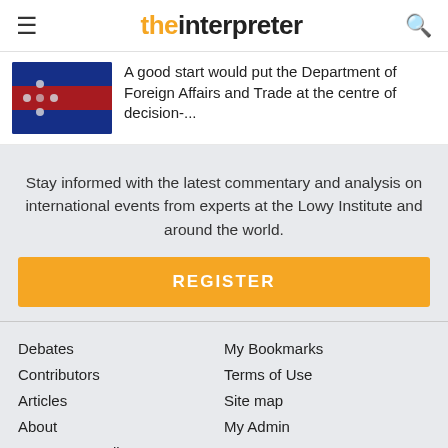the interpreter
A good start would put the Department of Foreign Affairs and Trade at the centre of decision-...
Stay informed with the latest commentary and analysis on international events from experts at the Lowy Institute and around the world.
REGISTER
Debates
Contributors
Articles
About
Comments Policy
My Bookmarks
Terms of Use
Site map
My Admin
Log In